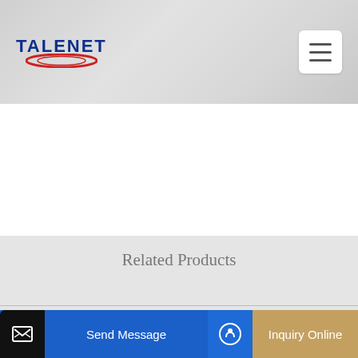TALENET
Related Products
Concrete Pump Truck 37m 42m 45m 48m 52m 56m
MCOM1264 120 Litre Concrete Mixer Buy Online
mixing plant on sale-GOLD MINING
Send Message
Inquiry Online